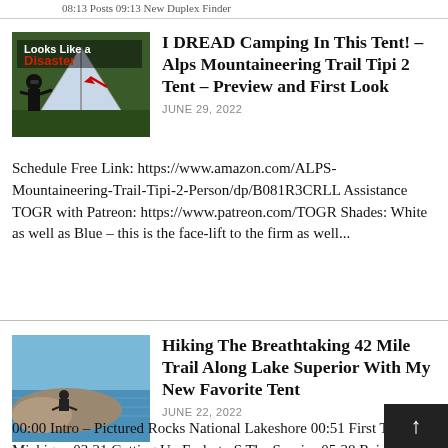08:13 Posts 09:13 New Duplex Finder
[Figure (photo): Thumbnail image with text 'Looks Like a Disaster' and a red arrow pointing at a tipi-style tent, man in black standing next to it]
I DREAD Camping In This Tent! – Alps Mountaineering Trail Tipi 2 Tent – Preview and First Look
JUNE 29, 2022
Schedule Free Link: https://www.amazon.com/ALPS-Mountaineering-Trail-Tipi-2-Person/dp/B081R3CRLL Assistance TOGR with Patreon: https://www.patreon.com/TOGR Shades: White as well as Blue – this is the face-lift to the firm as well...
[Figure (photo): Aerial photo of a person sitting on rocky shoreline of Lake Superior with blue water and rocks visible]
Hiking The Breathtaking 42 Mile Trail Along Lake Superior With My New Favorite Tent
JUNE 22, 2022
00:00 Intro – Pictured Rocks National Lakeshore 00:51 First Time In Michigan 03:21 Getting Up Early to S The Sunrise 05:38 Rain 07:59 Day Three...